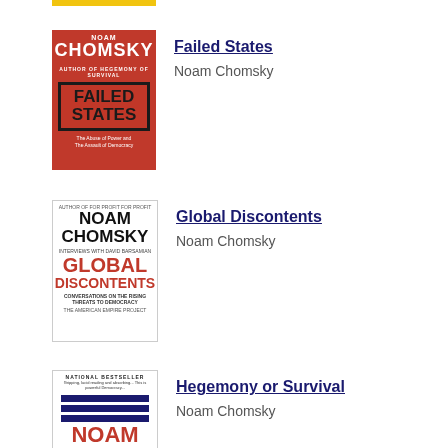[Figure (illustration): Book cover: Failed States by Noam Chomsky - red cover with stamp-style title]
Failed States
Noam Chomsky
[Figure (illustration): Book cover: Global Discontents by Noam Chomsky - white cover with black and red text]
Global Discontents
Noam Chomsky
[Figure (illustration): Book cover: Hegemony or Survival by Noam Chomsky - white cover with blue stripes and red text]
Hegemony or Survival
Noam Chomsky